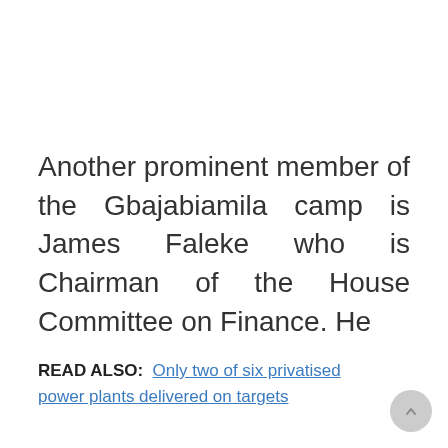Another prominent member of the Gbajabiamila camp is James Faleke who is Chairman of the House Committee on Finance. He
READ ALSO:  Only two of six privatised power plants delivered on targets